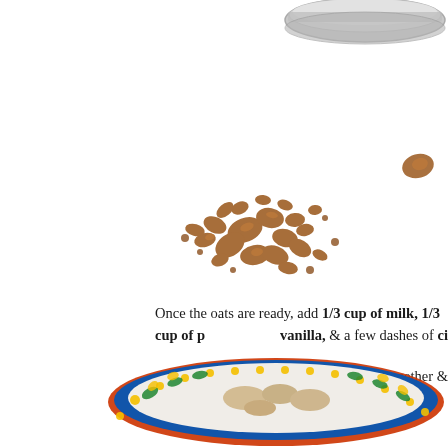[Figure (photo): Partial view of a jar or container lid at top of page]
[Figure (photo): Scattered granola or brown sugar clusters on white background]
[Figure (photo): Small piece of granola or brown sugar, upper right]
Once the oats are ready, add 1/3 cup of milk, 1/3 cup of p vanilla, & a few dashes of ci
Stir it all together &
[Figure (photo): Decorative bowl with blue and yellow floral pattern visible at bottom of page, containing oat mixture]